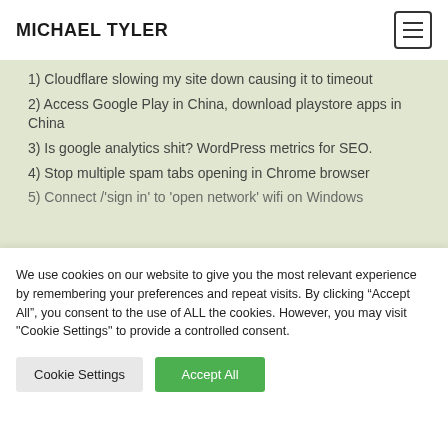MICHAEL TYLER
1) Cloudflare slowing my site down causing it to timeout
2) Access Google Play in China, download playstore apps in China
3) Is google analytics shit? WordPress metrics for SEO.
4) Stop multiple spam tabs opening in Chrome browser
5) Connect /'sign in' to 'open network' wifi on Windows
We use cookies on our website to give you the most relevant experience by remembering your preferences and repeat visits. By clicking “Accept All”, you consent to the use of ALL the cookies. However, you may visit "Cookie Settings" to provide a controlled consent.